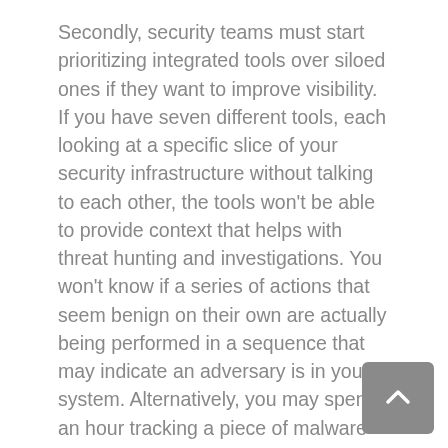Secondly, security teams must start prioritizing integrated tools over siloed ones if they want to improve visibility. If you have seven different tools, each looking at a specific slice of your security infrastructure without talking to each other, the tools won't be able to provide context that helps with threat hunting and investigations. You won't know if a series of actions that seem benign on their own are actually being performed in a sequence that may indicate an adversary is in your system. Alternatively, you may spend an hour tracking a piece of malware that snuck past your EPP only to find that it was blocked by your firewall.